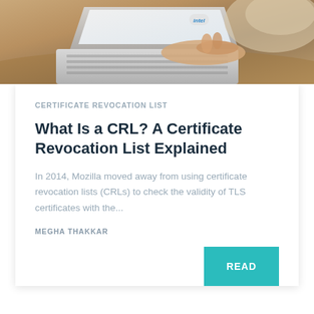[Figure (photo): Person typing on a laptop keyboard, viewed from above/side angle, warm brown tones]
CERTIFICATE REVOCATION LIST
What Is a CRL? A Certificate Revocation List Explained
In 2014, Mozilla moved away from using certificate revocation lists (CRLs) to check the validity of TLS certificates with the...
MEGHA THAKKAR
READ